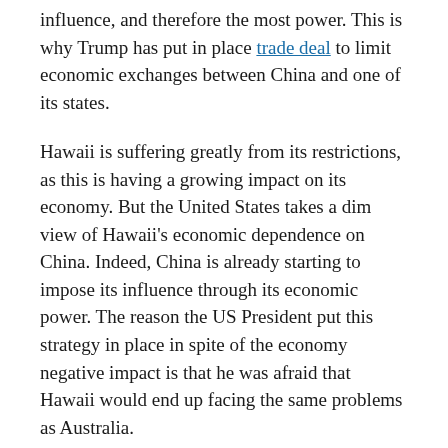influence, and therefore the most power. This is why Trump has put in place trade deal to limit economic exchanges between China and one of its states.
Hawaii is suffering greatly from its restrictions, as this is having a growing impact on its economy. But the United States takes a dim view of Hawaii's economic dependence on China. Indeed, China is already starting to impose its influence through its economic power. The reason the US President put this strategy in place in spite of the economy negative impact is that he was afraid that Hawaii would end up facing the same problems as Australia.